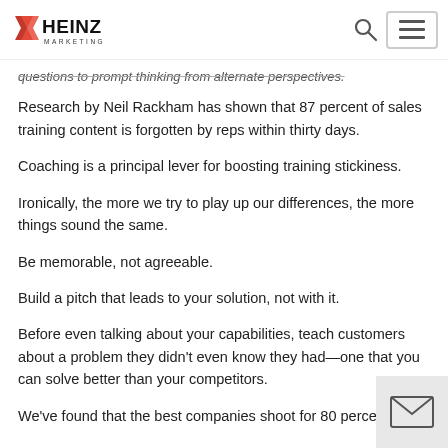Heinz Marketing
questions to prompt thinking from alternate perspectives.
Research by Neil Rackham has shown that 87 percent of sales training content is forgotten by reps within thirty days.
Coaching is a principal lever for boosting training stickiness.
Ironically, the more we try to play up our differences, the more things sound the same.
Be memorable, not agreeable.
Build a pitch that leads to your solution, not with it.
Before even talking about your capabilities, teach customers about a problem they didn't even know they had—one that you can solve better than your competitors.
We've found that the best companies shoot for 80 percent